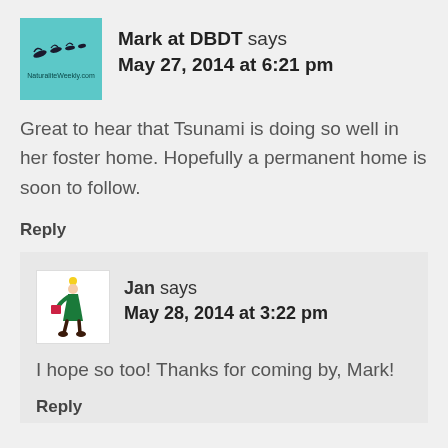[Figure (illustration): Avatar image for Mark at DBDT — cyan/teal square with bird silhouettes and text 'NaturaliteWeekly.com']
Mark at DBDT says
May 27, 2014 at 6:21 pm
Great to hear that Tsunami is doing so well in her foster home. Hopefully a permanent home is soon to follow.
Reply
[Figure (illustration): Avatar image for Jan — white square with illustration of a girl in green dress walking]
Jan says
May 28, 2014 at 3:22 pm
I hope so too! Thanks for coming by, Mark!
Reply